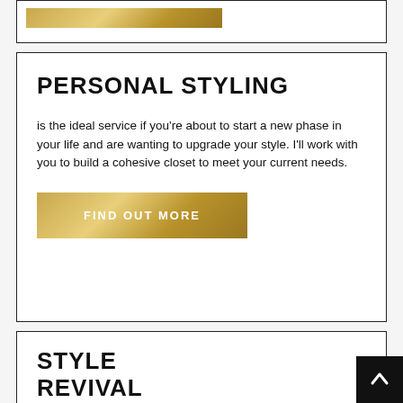[Figure (other): Partial top card with gold/bronze rectangular bar visible at top of page]
PERSONAL STYLING
is the ideal service if you're about to start a new phase in your life and are wanting to upgrade your style. I'll work with you to build a cohesive closet to meet your current needs.
FIND OUT MORE
STYLE REVIVAL
was created to put an end to "I have nothing to wear!" where I'll work with you to revive your style and revamp your closet to be filled with pieces you love!